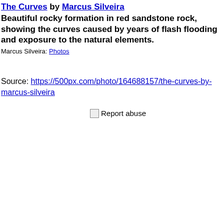The Curves by Marcus Silveira
Beautiful rocky formation in red sandstone rock, showing the curves caused by years of flash flooding and exposure to the natural elements.
Marcus Silveira: Photos
Source: https://500px.com/photo/164688157/the-curves-by-marcus-silveira
Report abuse